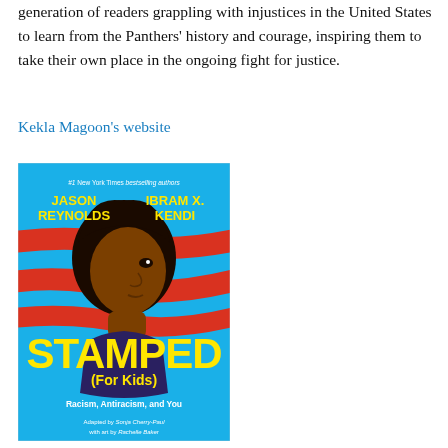generation of readers grappling with injustices in the United States to learn from the Panthers' history and courage, inspiring them to take their own place in the ongoing fight for justice.
Kekla Magoon's website
[Figure (illustration): Book cover of 'Stamped (For Kids): Racism, Antiracism, and You' by Jason Reynolds and Ibram X. Kendi, adapted by Sonja Cherry-Paul with art by Rachelle Baker. Blue background with an illustration of a young Black person's face in profile, with red swooshes across the image. Authors' names in yellow bold text at top. Title 'STAMPED' in large yellow text and '(For Kids)' in smaller yellow text. Subtitle 'Racism, Antiracism, and You' in white text.]